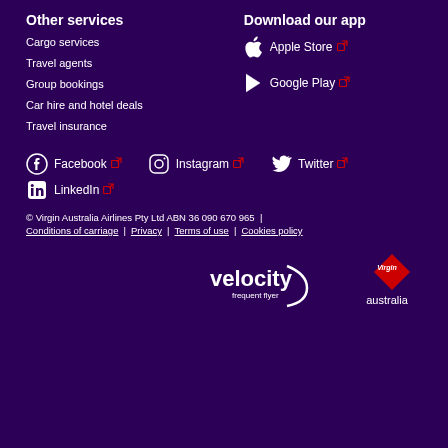Other services
Cargo services
Travel agents
Group bookings
Car hire and hotel deals
Travel insurance
Download our app
Apple Store
Google Play
Facebook
Instagram
Twitter
LinkedIn
© Virgin Australia Airlines Pty Ltd ABN 36 090 670 965  |
Conditions of carriage  |  Privacy  |  Terms of use  |  Cookies policy
[Figure (logo): Velocity Frequent Flyer logo and Virgin Australia logo]